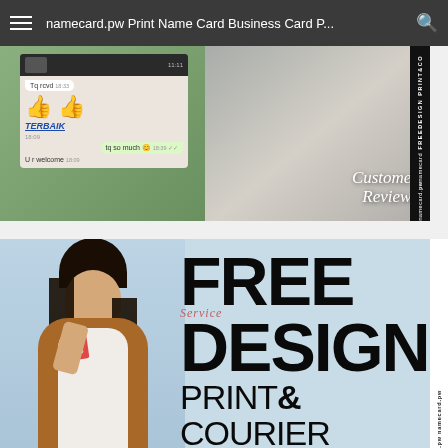namecard.pw Print Name Card Business Card P...
[Figure (screenshot): Customer Reviews promotional image showing WhatsApp chat screenshot on left with thumbs up emojis and 'TERBAIK' text, and a woman using phone on right with 'Customer Reviews' cursive text overlay, with 'FREE DESIGN PRINT&CO' vertical side label]
[Figure (advertisement): Promotional banner on light blue background showing woman holding a name card on left, and bold black text reading 'FREE DESIGN PRINT & COURIER' on right with vertical 'namecard.pw' side label]